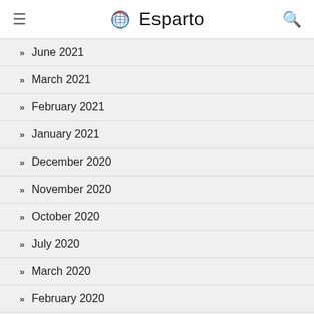Esparto
June 2021
March 2021
February 2021
January 2021
December 2020
November 2020
October 2020
July 2020
March 2020
February 2020
January 2020
August 2018